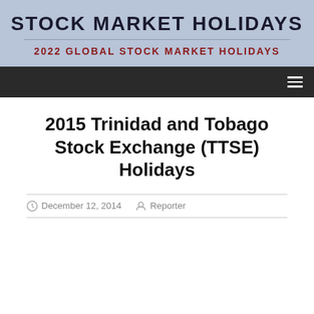STOCK MARKET HOLIDAYS
2022 GLOBAL STOCK MARKET HOLIDAYS
2015 Trinidad and Tobago Stock Exchange (TTSE) Holidays
December 12, 2014   Reporter